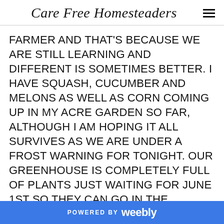Care Free Homesteaders
FARMER AND THAT'S BECAUSE WE ARE STILL LEARNING AND DIFFERENT IS SOMETIMES BETTER. I HAVE SQUASH, CUCUMBER AND MELONS AS WELL AS CORN COMING UP IN MY ACRE GARDEN SO FAR, ALTHOUGH I AM HOPING IT ALL SURVIVES AS WE ARE UNDER A FROST WARNING FOR TONIGHT. OUR GREENHOUSE IS COMPLETELY FULL OF PLANTS JUST WAITING FOR JUNE 1ST SO THEY CAN GO IN THE GROUND, I AM PRETTY SURE THE HUBBY NEEDED TO MAKE ME A
POWERED BY weebly